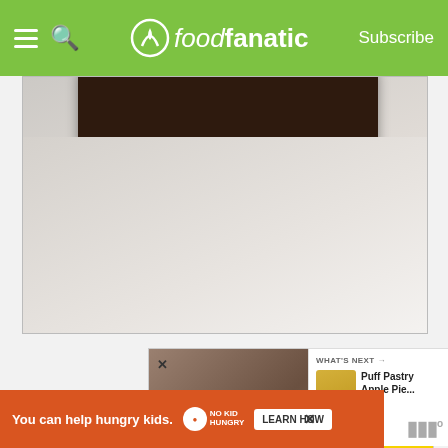foodfanatic — Subscribe
[Figure (photo): Close-up photo of a dark chocolate brownie slice on a white plate, with blurred background]
[Figure (infographic): Ad Council advertisement with yellow background. Shows group of friends. Text reads: Getting back to going out starts with getting informed. IT'S UP TO YOU — COVID-19 VACCINATION. > Get info at GetVaccineAnswers.org]
WHAT'S NEXT →
Puff Pastry Apple Pie...
[Figure (photo): Bottom banner ad: You can help hungry kids. No Kid Hungry. LEARN HOW]